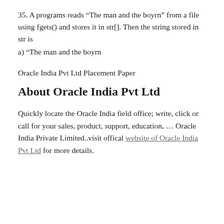35. A programs reads “The man and the boyrn” from a file using fgets() and stores it in str[]. Then the string stored in str is
a) “The man and the boyrn
Oracle India Pvt Ltd Placement Paper
About Oracle India Pvt Ltd
Quickly locate the Oracle India field office; write, click or call for your sales, product, support, education, … Oracle India Private Limited..visit offical website of Oracle India Pvt Ltd for more details.